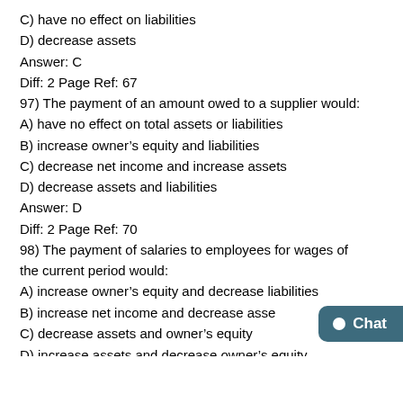C) have no effect on liabilities
D) decrease assets
Answer: C
Diff: 2 Page Ref: 67
97) The payment of an amount owed to a supplier would:
A) have no effect on total assets or liabilities
B) increase owner's equity and liabilities
C) decrease net income and increase assets
D) decrease assets and liabilities
Answer: D
Diff: 2 Page Ref: 70
98) The payment of salaries to employees for wages of the current period would:
A) increase owner's equity and decrease liabilities
B) increase net income and decrease assets
C) decrease assets and owner's equity
D) increase assets and decrease owner's equity